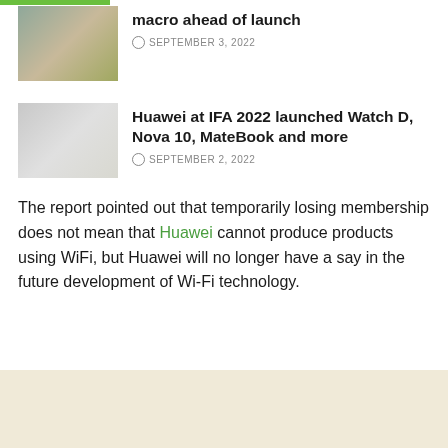[Figure (photo): Thumbnail image of outdoor scene with animals or nature]
macro ahead of launch
SEPTEMBER 3, 2022
[Figure (photo): Thumbnail image, light gray/white background]
Huawei at IFA 2022 launched Watch D, Nova 10, MateBook and more
SEPTEMBER 2, 2022
The report pointed out that temporarily losing membership does not mean that Huawei cannot produce products using WiFi, but Huawei will no longer have a say in the future development of Wi-Fi technology.